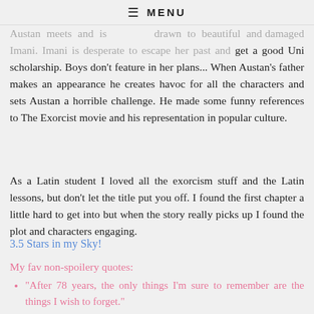≡ MENU
wants to fit in Austan meets and is drawn to beautiful and damaged Imani. Imani is desperate to escape her past and get a good Uni scholarship. Boys don't feature in her plans... When Austan's father makes an appearance he creates havoc for all the characters and sets Austan a horrible challenge. He made some funny references to The Exorcist movie and his representation in popular culture.
As a Latin student I loved all the exorcism stuff and the Latin lessons, but don't let the title put you off. I found the first chapter a little hard to get into but when the story really picks up I found the plot and characters engaging.
3.5 Stars in my Sky!
My fav non-spoilery quotes:
"After 78 years, the only things I'm sure to remember are the things I wish to forget."
"I hope you don't mind my asking, but what's it like?" Austan stared blankly until she clarified,